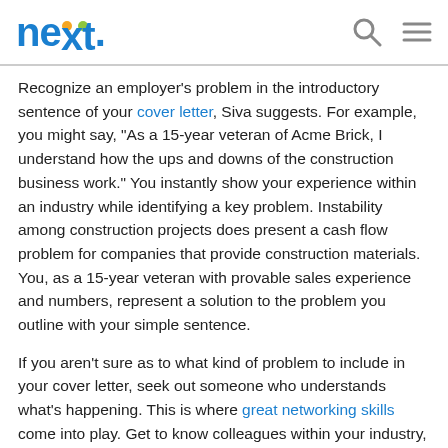nexxt
Recognize an employer's problem in the introductory sentence of your cover letter, Siva suggests. For example, you might say, "As a 15-year veteran of Acme Brick, I understand how the ups and downs of the construction business work." You instantly show your experience within an industry while identifying a key problem. Instability among construction projects does present a cash flow problem for companies that provide construction materials. You, as a 15-year veteran with provable sales experience and numbers, represent a solution to the problem you outline with your simple sentence.
If you aren't sure as to what kind of problem to include in your cover letter, seek out someone who understands what's happening. This is where great networking skills come into play. Get to know colleagues within your industry, and reach out to people who work for a prospective employer. Add any relevant, succinct information to your correspondence so the hiring manager readily sees your